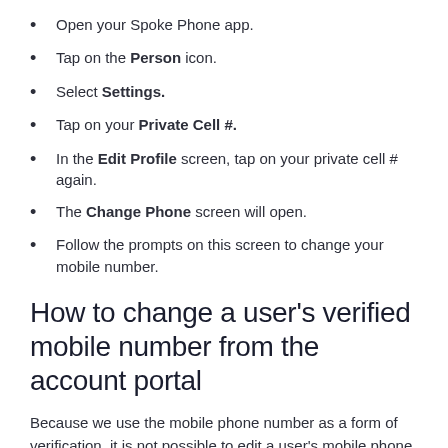Open your Spoke Phone app.
Tap on the Person icon.
Select Settings.
Tap on your Private Cell #.
In the Edit Profile screen, tap on your private cell # again.
The Change Phone screen will open.
Follow the prompts on this screen to change your mobile number.
How to change a user’s verified mobile number from the account portal
Because we use the mobile phone number as a form of verification, it is not possible to edit a user’s mobile phone number from the Spoke Phone portal.